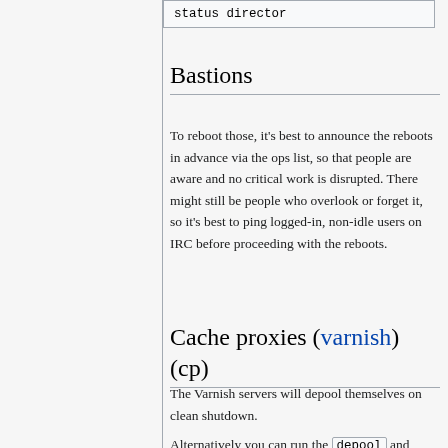status director
Bastions
To reboot those, it's best to announce the reboots in advance via the ops list, so that people are aware and no critical work is disrupted. There might still be people who overlook or forget it, so it's best to ping logged-in, non-idle users on IRC before proceeding with the reboots.
Cache proxies (varnish) (cp)
The Varnish servers will depool themselves on clean shutdown.
Alternatively you can run the depool and pool commands as root.
Or also: confctl select 'name=<fqdn>' set/pooled=yes On